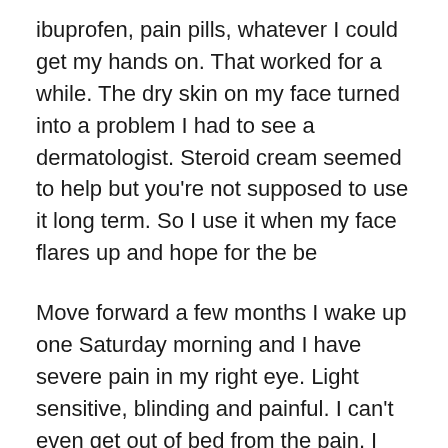ibuprofen, pain pills, whatever I could get my hands on. That worked for a while. The dry skin on my face turned into a problem I had to see a dermatologist. Steroid cream seemed to help but you're not supposed to use it long term. So I use it when my face flares up and hope for the be
Move forward a few months I wake up one Saturday morning and I have severe pain in my right eye. Light sensitive, blinding and painful. I can't even get out of bed from the pain. I call my son and he takes me to the hospital and the doctor didn't know what it was. My eye didn't look that bad to him, but he was not an eye doctor. He gives me some drops for the pain and refers me to an eye doctor and sends me packing. So I wait it out all the way through Tuesday.. very little improvement to my eye. I go in to see the eye doctor, she examines me and